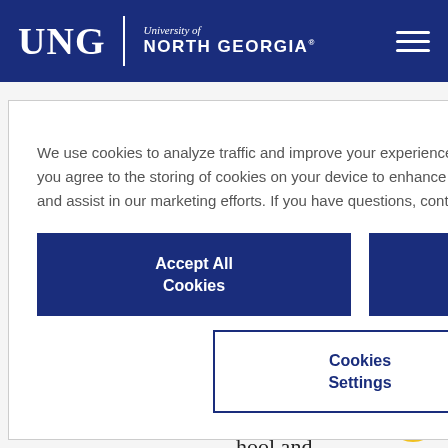UNG | University of North Georgia
We use cookies to analyze traffic and improve your experience. By clicking "Accept All Cookies", you agree to the storing of cookies on your device to enhance site navigation, analyze site usage and assist in our marketing efforts. If you have questions, contact privacy@ung.edu.
Accept All Cookies
Reject All Cookies
Cookies Settings